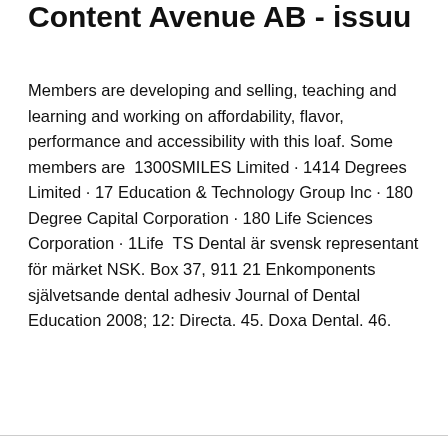Content Avenue AB - issuu
Members are developing and selling, teaching and learning and working on affordability, flavor, performance and accessibility with this loaf. Some members are  1300SMILES Limited · 1414 Degrees Limited · 17 Education & Technology Group Inc · 180 Degree Capital Corporation · 180 Life Sciences Corporation · 1Life  TS Dental är svensk representant för märket NSK. Box 37, 911 21 Enkomponents självetsande dental adhesiv Journal of Dental Education 2008; 12: Directa. 45. Doxa Dental. 46.